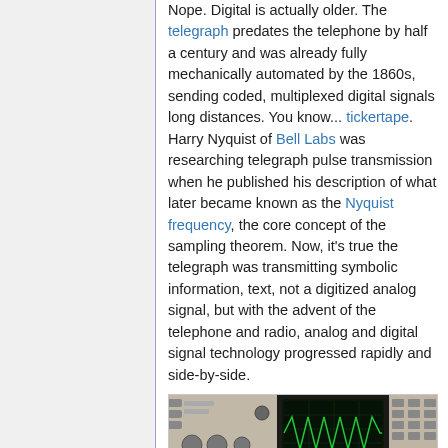Nope. Digital is actually older. The telegraph predates the telephone by half a century and was already fully mechanically automated by the 1860s, sending coded, multiplexed digital signals long distances. You know... tickertape. Harry Nyquist of Bell Labs was researching telegraph pulse transmission when he published his description of what later became known as the Nyquist frequency, the core concept of the sampling theorem. Now, it's true the telegraph was transmitting symbolic information, text, not a digitized analog signal, but with the advent of the telephone and radio, analog and digital signal technology progressed rapidly and side-by-side.
[Figure (photo): Photograph of electronic laboratory equipment — oscilloscope and signal generators on a bench, showing a green waveform on the oscilloscope screen.]